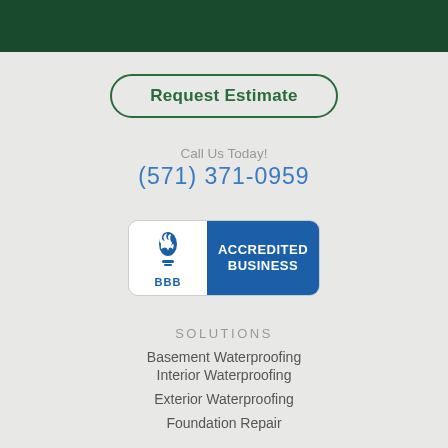Request Estimate
Call Us Today!
(571) 371-0959
[Figure (logo): BBB Accredited Business badge with blue logo and white text on blue background]
SOLUTIONS
Basement Waterproofing
Interior Waterproofing
Exterior Waterproofing
Foundation Repair